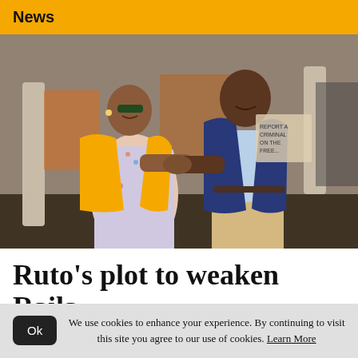News
[Figure (photo): Two people shaking hands outdoors near a building with columns. A woman in a yellow blazer and floral dress and a man in a navy blue blazer and khaki pants are smiling and shaking hands.]
Ruto's plot to weaken Raila
We use cookies to enhance your experience. By continuing to visit this site you agree to our use of cookies. Learn More